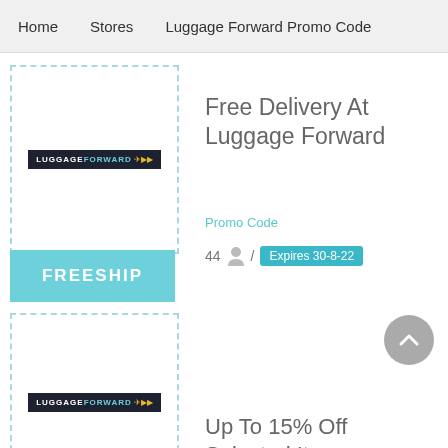Home  Stores  Luggage Forward Promo Code
[Figure (logo): Luggage Forward logo in dashed border box]
[Figure (other): FREESHIP coupon bar in teal]
Free Delivery At Luggage Forward
Promo Code
44  /  Expires 30-8-22
[Figure (logo): Luggage Forward logo in dashed border box (second card)]
Up To 15% Off Selected Items